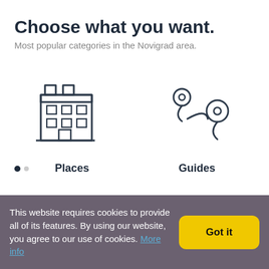Choose what you want.
Most popular categories in the Novigrad area.
[Figure (illustration): Line icon of a multi-story building representing Places category]
Places
[Figure (illustration): Line icon of two map pin markers connected by a curved path representing Guides category]
Guides
This website requires cookies to provide all of its features. By using our website, you agree to our use of cookies. More info